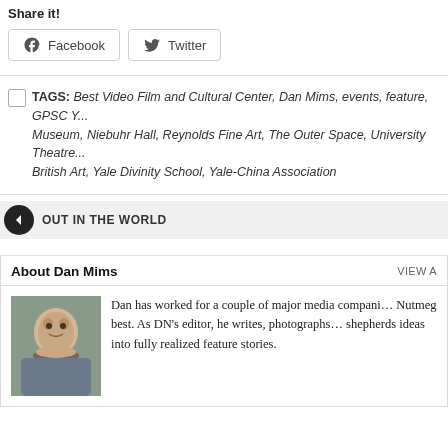Share it!
Facebook  Twitter
TAGS: Best Video Film and Cultural Center, Dan Mims, events, feature, GPSC... Museum, Niebuhr Hall, Reynolds Fine Art, The Outer Space, University Theatre... British Art, Yale Divinity School, Yale-China Association
OUT IN THE WORLD
About Dan Mims
VIEW A
[Figure (photo): Headshot of Dan Mims, a man with dark hair and a beard]
Dan has worked for a couple of major media compani... Nutmeg best. As DN’s editor, he writes, photographs... shepherds ideas into fully realized feature stories.